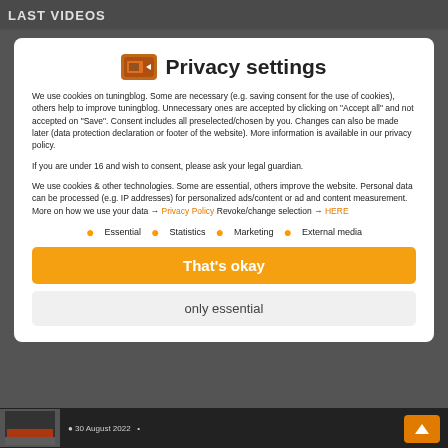LAST VIDEOS
Privacy settings
We use cookies on tuningblog. Some are necessary (e.g. saving consent for the use of cookies), others help to improve tuningblog. Unnecessary ones are accepted by clicking on "Accept all" and not accepted on "Save". Consent includes all preselected/chosen by you. Changes can also be made later (data protection declaration or footer of the website). More information is available in our privacy policy.
If you are under 16 and wish to consent, please ask your legal guardian.
We use cookies & other technologies. Some are essential, others improve the website. Personal data can be processed (e.g. IP addresses) for personalized ads/content or ad and content measurement. More on how we use your data → Privacy Policy Revoke/change selection → HERE
Essential
Statistics
Marketing
External media
That's okay
only essential
30 August 2022